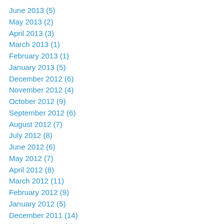June 2013 (5)
May 2013 (2)
April 2013 (3)
March 2013 (1)
February 2013 (1)
January 2013 (5)
December 2012 (6)
November 2012 (4)
October 2012 (9)
September 2012 (6)
August 2012 (7)
July 2012 (8)
June 2012 (6)
May 2012 (7)
April 2012 (8)
March 2012 (11)
February 2012 (9)
January 2012 (5)
December 2011 (14)
November 2011 (9)